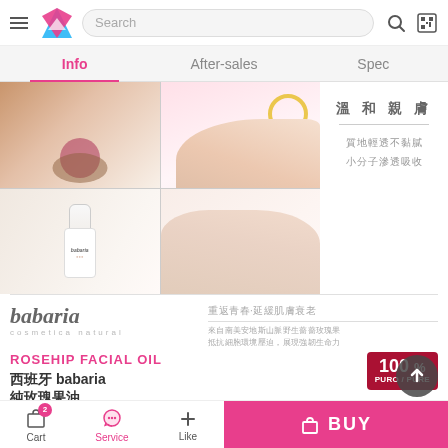Search
Info | After-sales | Spec
[Figure (photo): Product photos collage showing babaria Rosehip Facial Oil bottle and hand skin application]
溫和親膚
質地輕透不黏膩
小分子滲透吸收
[Figure (logo): babaria cosmetica natural logo]
重返青春·延緩肌膚衰老
來自南美安地斯山脈野生薔薔玫瑰果
抵抗細胞環境壓迫，展現強韌生命力
被譽為安地斯紅寶石～青春不老之
ROSEHIP FACIAL OIL
西班牙 babaria
純玫瑰果油
100 %
PURO/PURE
Cart 2 | Service | + Like | BUY